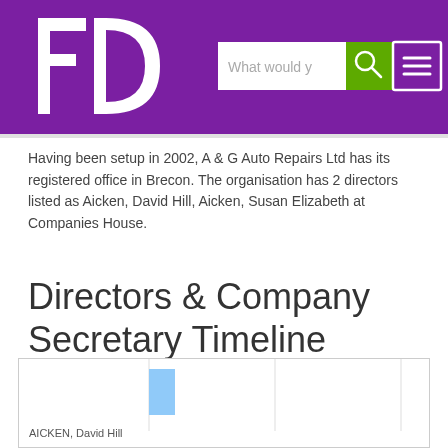[Figure (logo): FD logo in white on purple background with search bar and hamburger menu]
Having been setup in 2002, A & G Auto Repairs Ltd has its registered office in Brecon. The organisation has 2 directors listed as Aicken, David Hill, Aicken, Susan Elizabeth at Companies House.
Directors & Company Secretary Timeline
[Figure (bar-chart): Partial timeline bar chart showing AICKEN, David Hill with a blue bar]